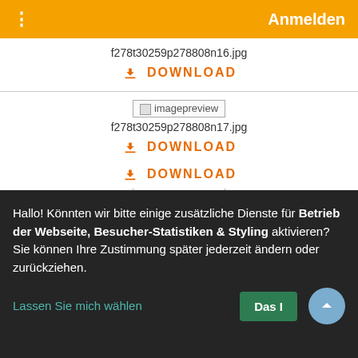Anmelden
f278t30259p278808n16.jpg
DOWNLOAD
[Figure (screenshot): Image preview placeholder labeled 'imagepreview']
f278t30259p278808n17.jpg
DOWNLOAD
[Figure (screenshot): Image preview placeholder labeled 'imagepreview']
f278t30259p278808n18.jpg
DOWNLOAD (partially visible)
Hallo! Könnten wir bitte einige zusätzliche Dienste für Betrieb der Webseite, Besucher-Statistiken & Styling aktivieren? Sie können Ihre Zustimmung später jederzeit ändern oder zurückziehen.
Lassen Sie mich wählen
Das I